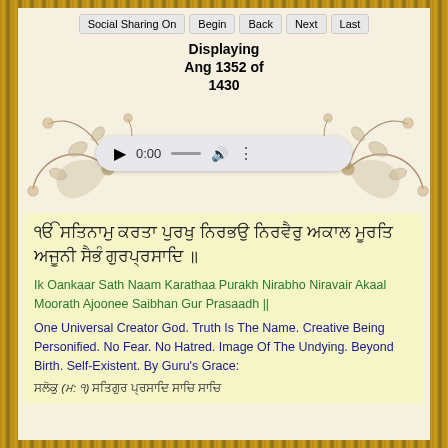Social Sharing On | Begin | Back | Next | Last
Displaying Ang 1352 of 1430
[Figure (illustration): Decorative floral ornament with audio player showing 0:00]
ੴ ਸਤਿਨਾਮੁ ਕਰਤਾ ਪੁਰਖੁ ਨਿਰਭਉ ਨਿਰਵੈਰੁ ਅਕਾਲ ਮੂਰਤਿ ਅਜੂਨੀ ਸੈਭੰ ਗੁਰਪ੍ਰਸਾਦਿ ॥
Ik Oankaar Sath Naam Karathaa Purakh Nirabho Niravair Akaal Moorath Ajoonee Saibhan Gur Prasaadh ||
One Universal Creator God. Truth Is The Name. Creative Being Personified. No Fear. No Hatred. Image Of The Undying. Beyond Birth. Self-Existent. By Guru's Grace:
ਸਲੋਕੁ (ਮ: ੧) ਸਤਿਗੁਰ ਪ੍ਰਸਾਦਿ ਸਾਚਿ ਸਾਚਿ